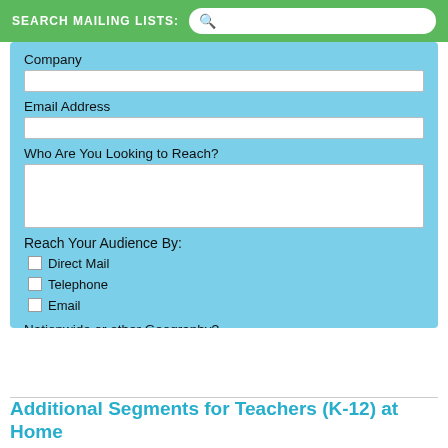SEARCH MAILING LISTS:
Company
Email Address
Who Are You Looking to Reach?
Reach Your Audience By:
Direct Mail
Telephone
Email
Nationwide or other Geography?
I am not a spambot.
Get a Quote!
We take privacy seriously and only use this information to send you a quote.
Additional Segments for Teachers (K-12) at Home